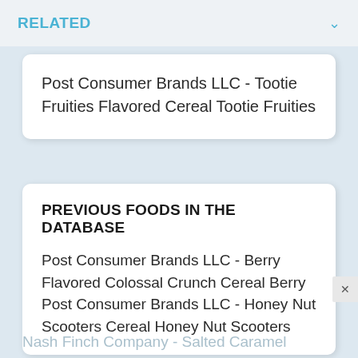RELATED
Post Consumer Brands LLC - Tootie Fruities Flavored Cereal Tootie Fruities
PREVIOUS FOODS IN THE DATABASE
Post Consumer Brands LLC - Berry Flavored Colossal Crunch Cereal Berry
Post Consumer Brands LLC - Honey Nut Scooters Cereal Honey Nut Scooters
Nash Finch Company - Salted Caramel